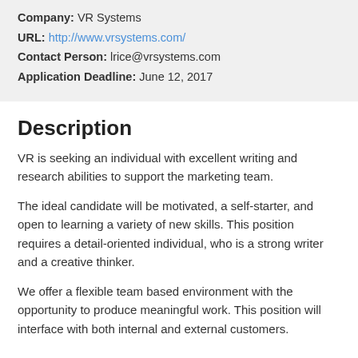Company: VR Systems
URL: http://www.vrsystems.com/
Contact Person: lrice@vrsystems.com
Application Deadline: June 12, 2017
Description
VR is seeking an individual with excellent writing and research abilities to support the marketing team.
The ideal candidate will be motivated, a self-starter, and open to learning a variety of new skills. This position requires a detail-oriented individual, who is a strong writer and a creative thinker.
We offer a flexible team based environment with the opportunity to produce meaningful work. This position will interface with both internal and external customers.